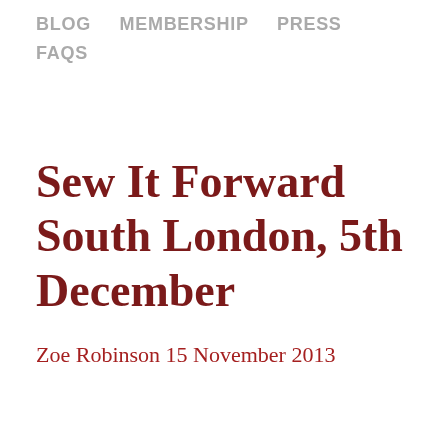BLOG   MEMBERSHIP   PRESS   FAQS
Sew It Forward South London, 5th December
Zoe Robinson 15 November 2013